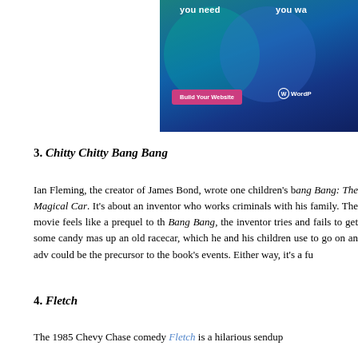[Figure (screenshot): Partial screenshot of a WordPress website builder advertisement showing 'you need' and 'you wa...' text, overlapping teal and blue circles, a pink 'Build Your Website' button, and the WordPress logo with 'WordP...' text cut off.]
3. Chitty Chitty Bang Bang
Ian Fleming, the creator of James Bond, wrote one children's b... Chitty Chitty Bang Bang: The Magical Car. It's about an inventor who works... criminals with his family. The movie feels like a prequel to th... Bang Bang, the inventor tries and fails to get some candy mas... up an old racecar, which he and his children use to go on an adv... could be the precursor to the book's events. Either way, it's a fu...
4. Fletch
The 1985 Chevy Chase comedy Fletch is a hilarious sendup...